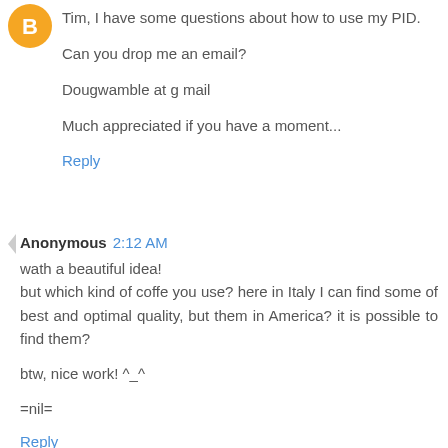[Figure (logo): Blogger orange circle avatar icon]
Tim, I have some questions about how to use my PID.

Can you drop me an email?

Dougwamble at g mail

Much appreciated if you have a moment...
Reply
Anonymous  2:12 AM
wath a beautiful idea!
but which kind of coffe you use? here in Italy I can find some of best and optimal quality, but them in America? it is possible to find them?

btw, nice work! ^_^

=nil=
Reply